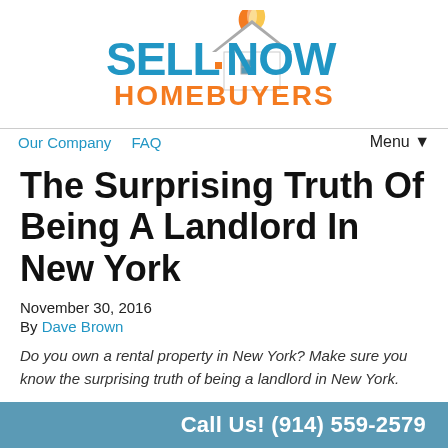[Figure (logo): Sell Now Homebuyers logo with blue and orange text and a house icon with flame]
Our Company   FAQ   Menu▼
The Surprising Truth Of Being A Landlord In New York
November 30, 2016
By Dave Brown
Do you own a rental property in New York? Make sure you know the surprising truth of being a landlord in New York.
Call Us! (914) 559-2579